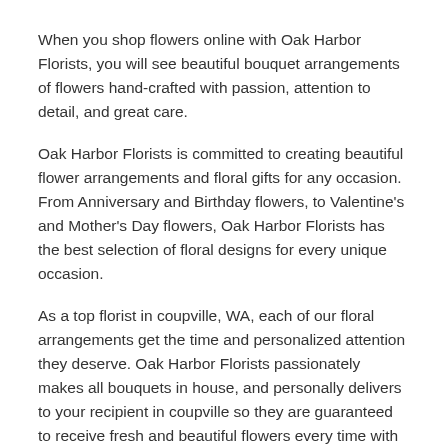When you shop flowers online with Oak Harbor Florists, you will see beautiful bouquet arrangements of flowers hand-crafted with passion, attention to detail, and great care.
Oak Harbor Florists is committed to creating beautiful flower arrangements and floral gifts for any occasion. From Anniversary and Birthday flowers, to Valentine's and Mother's Day flowers, Oak Harbor Florists has the best selection of floral designs for every unique occasion.
As a top florist in coupville, WA, each of our floral arrangements get the time and personalized attention they deserve. Oak Harbor Florists passionately makes all bouquets in house, and personally delivers to your recipient in coupville so they are guaranteed to receive fresh and beautiful flowers every time with an added personal touch. Pick out a gorgeous floral arrangement on our website and order flowers online through our convenient and secure checkout page. Oak Harbor Florists will expertly arrange your bouquet of beautiful blooms and can even create a custom arrangement or gift basket for your special occasion.